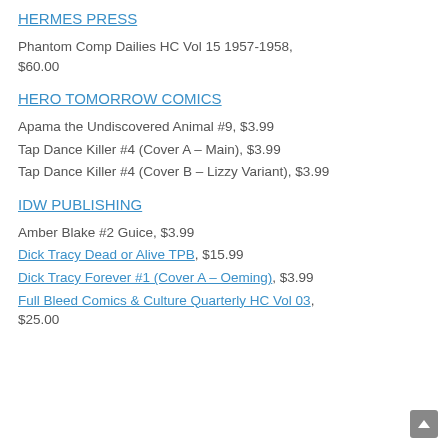HERMES PRESS
Phantom Comp Dailies HC Vol 15 1957-1958, $60.00
HERO TOMORROW COMICS
Apama the Undiscovered Animal #9, $3.99
Tap Dance Killer #4 (Cover A – Main), $3.99
Tap Dance Killer #4 (Cover B – Lizzy Variant), $3.99
IDW PUBLISHING
Amber Blake #2 Guice, $3.99
Dick Tracy Dead or Alive TPB, $15.99
Dick Tracy Forever #1 (Cover A – Oeming), $3.99
Full Bleed Comics & Culture Quarterly HC Vol 03, $25.00